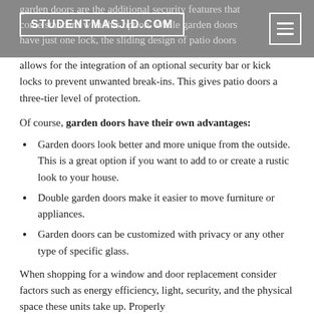STUDENTMASJID.COM
garden doors are the additional security features that come standard with this option. While garden doors have just one lock, the sliding design of patio doors allows for the integration of an optional security bar or kick locks to prevent unwanted break-ins. This gives patio doors a three-tier level of protection.
Of course, garden doors have their own advantages:
Garden doors look better and more unique from the outside. This is a great option if you want to add to or create a rustic look to your house.
Double garden doors make it easier to move furniture or appliances.
Garden doors can be customized with privacy or any other type of specific glass.
When shopping for a window and door replacement consider factors such as energy efficiency, light, security, and the physical space these units take up. Properly